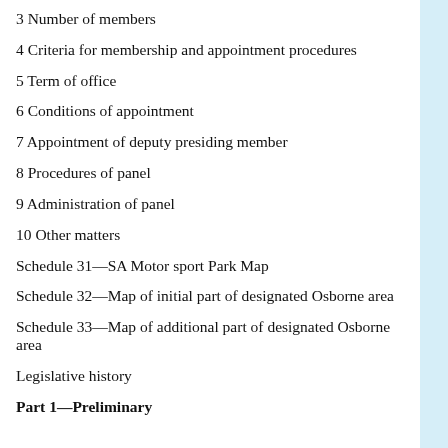3 Number of members
4 Criteria for membership and appointment procedures
5 Term of office
6 Conditions of appointment
7 Appointment of deputy presiding member
8 Procedures of panel
9 Administration of panel
10 Other matters
Schedule 31—SA Motor sport Park Map
Schedule 32—Map of initial part of designated Osborne area
Schedule 33—Map of additional part of designated Osborne area
Legislative history
Part 1—Preliminary